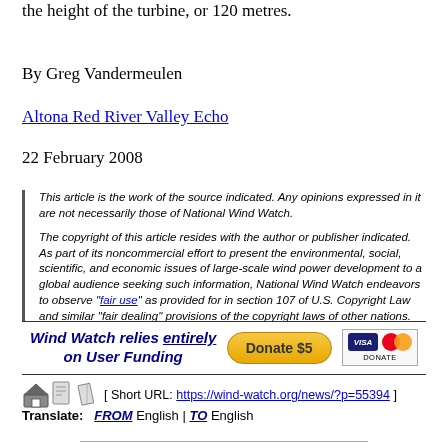the height of the turbine, or 120 metres.
By Greg Vandermeulen
Altona Red River Valley Echo
22 February 2008
This article is the work of the source indicated. Any opinions expressed in it are not necessarily those of National Wind Watch.

The copyright of this article resides with the author or publisher indicated. As part of its noncommercial effort to present the environmental, social, scientific, and economic issues of large-scale wind power development to a global audience seeking such information, National Wind Watch endeavors to observe "fair use" as provided for in section 107 of U.S. Copyright Law and similar "fair dealing" provisions of the copyright laws of other nations. Send requests to excerpt, general inquiries, and comments via e-mail.
[Figure (infographic): Wind Watch donation banner: 'Wind Watch relies entirely on User Funding' with Donate $5 button and Visa/Mastercard icons]
[ Short URL: https://wind-watch.org/news/?p=55394 ]
Translate:  FROM English | TO English